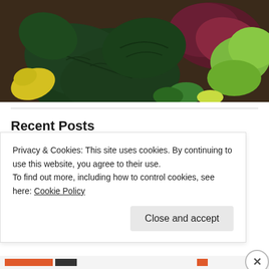[Figure (photo): Close-up photograph of garden vegetables: dark green spinach leaves, red/purple lettuce, bright green frilly lettuce, and a yellow squash with brown soil visible.]
Recent Posts
Basic Garden Tools
Our New Garden
Garden Update – 7/8/18
Privacy & Cookies: This site uses cookies. By continuing to use this website, you agree to their use.
To find out more, including how to control cookies, see here: Cookie Policy
Close and accept